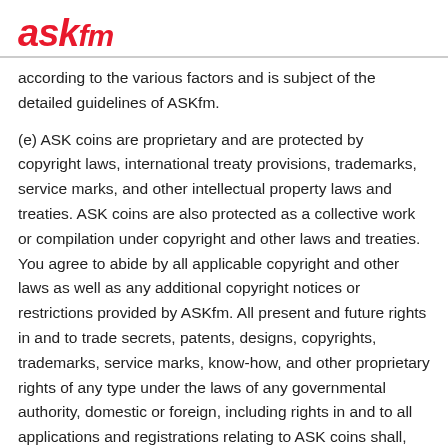ASKfm
according to the various factors and is subject of the detailed guidelines of ASKfm.
(e) ASK coins are proprietary and are protected by copyright laws, international treaty provisions, trademarks, service marks, and other intellectual property laws and treaties. ASK coins are also protected as a collective work or compilation under copyright and other laws and treaties. You agree to abide by all applicable copyright and other laws as well as any additional copyright notices or restrictions provided by ASKfm. All present and future rights in and to trade secrets, patents, designs, copyrights, trademarks, service marks, know-how, and other proprietary rights of any type under the laws of any governmental authority, domestic or foreign, including rights in and to all applications and registrations relating to ASK coins shall,